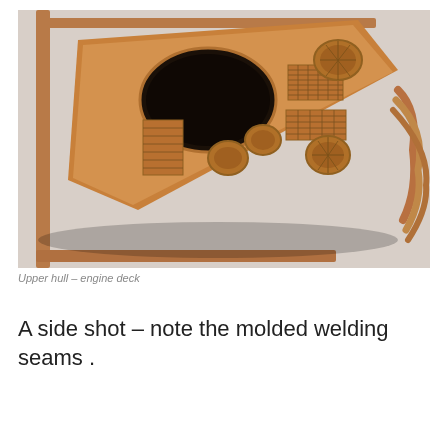[Figure (photo): Close-up photograph of a tan/brown plastic model kit sprue showing an upper hull engine deck piece of a tank, with detailed molded surface features including circular vents, grilles, and textured panels, arranged on a sprue frame against a light grey background.]
Upper hull – engine deck
A side shot – note the molded welding seams .